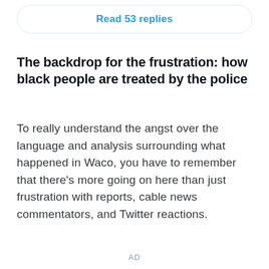Read 53 replies
The backdrop for the frustration: how black people are treated by the police
To really understand the angst over the language and analysis surrounding what happened in Waco, you have to remember that there's more going on here than just frustration with reports, cable news commentators, and Twitter reactions.
AD